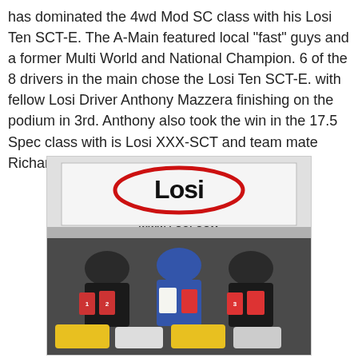has dominated the 4wd Mod SC class with his Losi Ten SCT-E. The A-Main featured local "fast" guys and a former Multi World and National Champion. 6 of the 8 drivers in the main chose the Losi Ten SCT-E. with fellow Losi Driver Anthony Mazzera finishing on the podium in 3rd. Anthony also took the win in the 17.5 Spec class with is Losi XXX-SCT and team mate Richard Trujillo finishing in 3rd.
[Figure (photo): Three people kneeling/sitting in front of a Losi banner (www.losi.com) holding trophies and prizes, with RC cars displayed in front of them on the floor.]